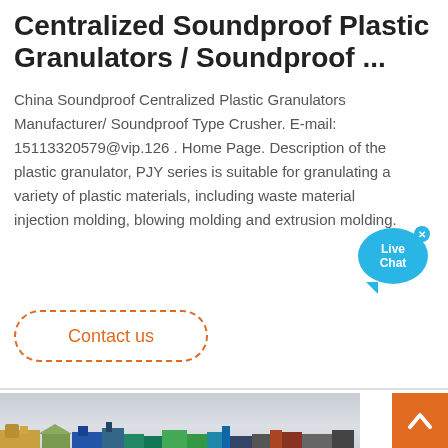Centralized Soundproof Plastic Granulators / Soundproof ...
China Soundproof Centralized Plastic Granulators Manufacturer/ Soundproof Type Crusher. E-mail: 15113320579@vip.126 . Home Page. Description of the plastic granulator, PJY series is suitable for granulating a variety of plastic materials, including waste materials injection molding, blowing molding and extrusion molding.
Contact us
[Figure (photo): Outdoor photo showing industrial plastic granulator machinery on a cloudy day, with colorful machines visible at ground level against a grey sky.]